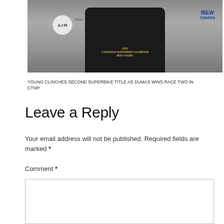[Figure (photo): Photo of a person wearing a black jacket with '2022 Canadian Superbike Champion Ben Young' text and gold graphic, with AIM logo, mcc logo, and IBEW Canada logo visible in the background]
YOUNG CLINCHES SECOND SUPERBIKE TITLE AS DUMAS WINS RACE TWO IN CTMP
Leave a Reply
Your email address will not be published. Required fields are marked *
Comment *